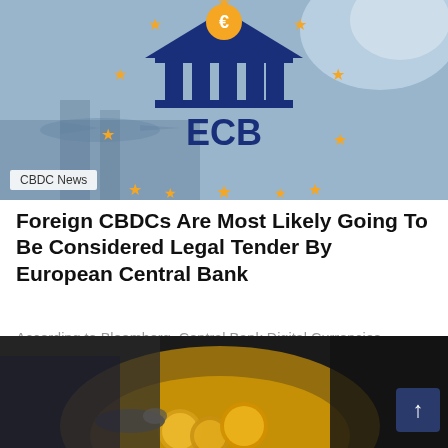[Figure (illustration): ECB (European Central Bank) logo illustration with dark blue bank building icon, euro sign on roof, surrounded by gold/yellow EU stars, against a blurred airport/cityscape background in blue tones]
CBDC News
Foreign CBDCs Are Most Likely Going To Be Considered Legal Tender By European Central Bank
According to Bloomberg, Central Bank Digital Currencies (CBDCs) developed by foreign institutions are more likely...
[Figure (photo): A person in a suit pointing at gold/yellow cryptocurrency coins on a table, dark background with warm golden tones]